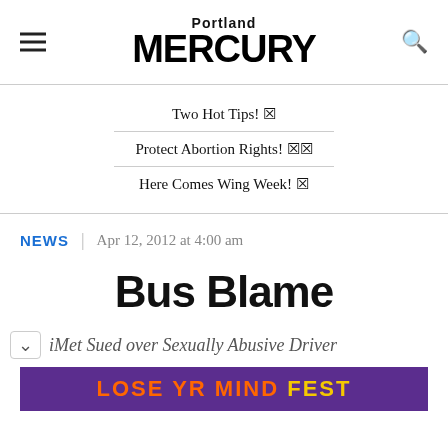Portland MERCURY
Two Hot Tips! 🔥
Protect Abortion Rights! 🔥🔥
Here Comes Wing Week! 🔥
NEWS | Apr 12, 2012 at 4:00 am
Bus Blame
iMet Sued over Sexually Abusive Driver
[Figure (other): LOSE YR MIND FEST banner advertisement with orange text on purple background]